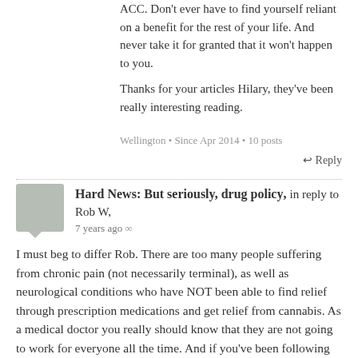ACC. Don't ever have to find yourself reliant on a benefit for the rest of your life. And never take it for granted that it won't happen to you.
Thanks for your articles Hilary, they've been really interesting reading.
Wellington • Since Apr 2014 • 10 posts
↩ Reply
Hard News: But seriously, drug policy, in reply to Rob W,
7 years ago ∞
I must beg to differ Rob. There are too many people suffering from chronic pain (not necessarily terminal), as well as neurological conditions who have NOT been able to find relief through prescription medications and get relief from cannabis. As a medical doctor you really should know that they are not going to work for everyone all the time. And if you've been following recent stories about the young children with very severe epilepsy who are have very real, beneficial effects